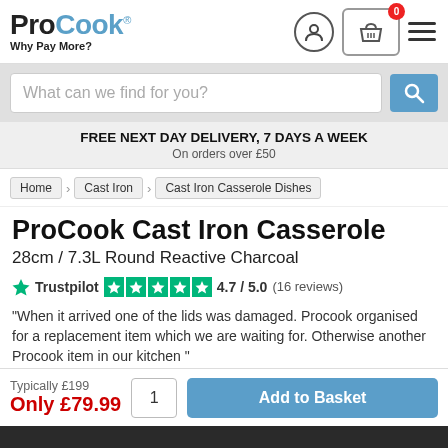ProCook Why Pay More?
What can we find for you?
FREE NEXT DAY DELIVERY, 7 DAYS A WEEK
On orders over £50
Home > Cast Iron > Cast Iron Casserole Dishes
ProCook Cast Iron Casserole
28cm / 7.3L Round Reactive Charcoal
Trustpilot 4.7 / 5.0 (16 reviews)
“When it arrived one of the lids was damaged. Procook organised for a replacement item which we are waiting for. Otherwise another Procook item in our kitchen ”
Typically £199
Only £79.99
Add to Basket